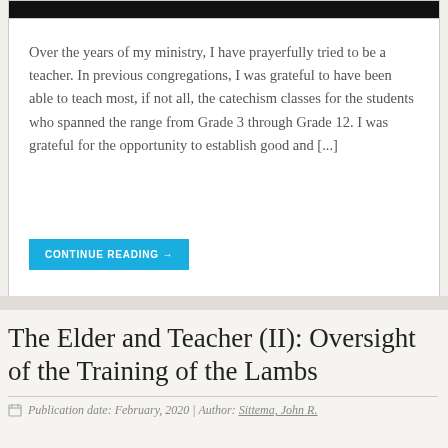[Figure (photo): Dark/black image strip at the top of the page, partial view of a photo]
Over the years of my ministry, I have prayerfully tried to be a teacher. In previous congregations, I was grateful to have been able to teach most, if not all, the catechism classes for the students who spanned the range from Grade 3 through Grade 12. I was grateful for the opportunity to establish good and [...]
CONTINUE READING →
The Elder and Teacher (II): Oversight of the Training of the Lambs
Publication date: February, 2020 | Author: Sittema, John R.